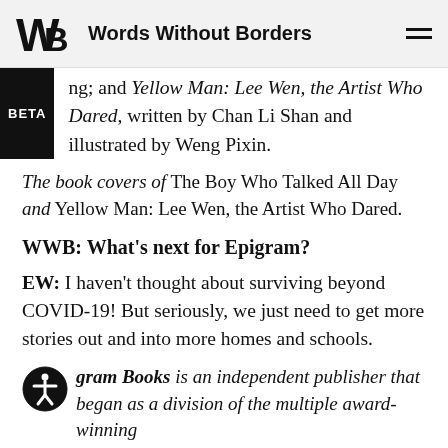Words Without Borders
ng; and Yellow Man: Lee Wen, the Artist Who Dared, written by Chan Li Shan and illustrated by Weng Pixin.
The book covers of The Boy Who Talked All Day and Yellow Man: Lee Wen, the Artist Who Dared.
WWB: What's next for Epigram?
EW: I haven't thought about surviving beyond COVID-19! But seriously, we just need to get more stories out and into more homes and schools.
Epigram Books is an independent publisher that began as a division of the multiple award-winning